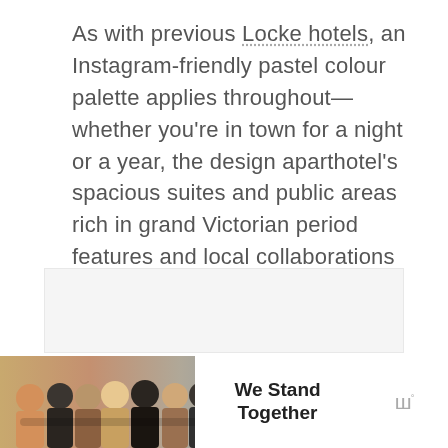As with previous Locke hotels, an Instagram-friendly pastel colour palette applies throughout—whether you're in town for a night or a year, the design aparthotel's spacious suites and public areas rich in grand Victorian period features and local collaborations are set to capture your imagination.
ADVERTISEMENT
[Figure (other): Advertisement banner showing a group of people from behind with arms around each other, with text 'We Stand Together' and a brand logo]